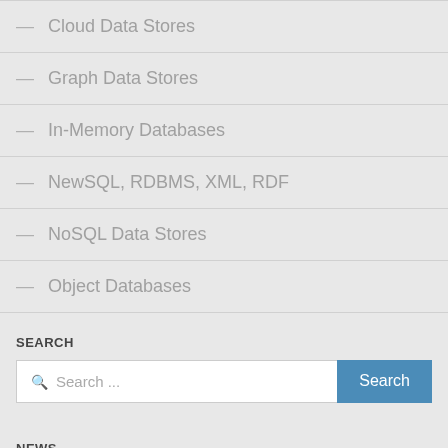— Cloud Data Stores
— Graph Data Stores
— In-Memory Databases
— NewSQL, RDBMS, XML, RDF
— NoSQL Data Stores
— Object Databases
SEARCH
Search ...
NEWS